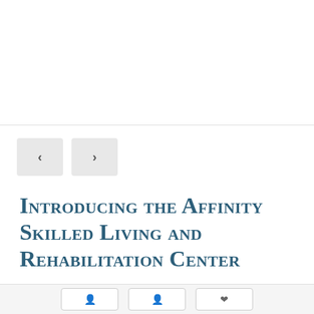[Figure (photo): Top image area, appears blank/white - likely a photo carousel or banner image area]
[Figure (other): Navigation previous and next arrow buttons (< and >) for a slideshow or carousel]
Introducing the Affinity Skilled Living and Rehabilitation Center
Published by  Affinity Skilled at  January 30, 2017
[Figure (other): Social share buttons row at the bottom of the page]